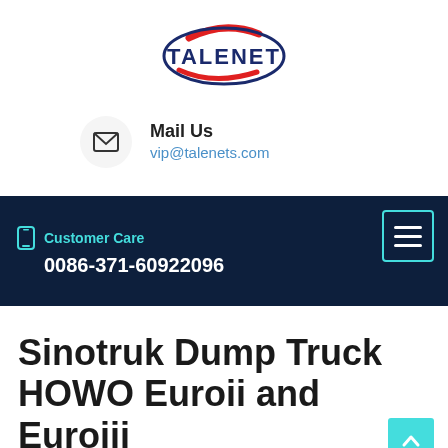[Figure (logo): TALENET logo with red swoosh and dark blue bold text]
Mail Us
vip@talenets.com
[Figure (infographic): Dark navy navigation bar with hamburger menu icon (cyan border), phone icon, Customer Care label in cyan, phone number 0086-371-60922096 in white bold]
Sinotruk Dump Truck HOWO Euroii and Euroiii